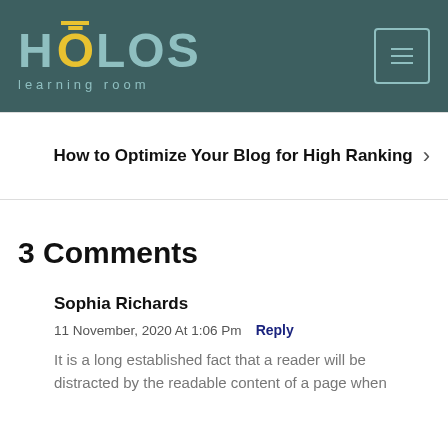HOLOS learning room
How to Optimize Your Blog for High Ranking
3 Comments
Sophia Richards
11 November, 2020 At 1:06 Pm  Reply
It is a long established fact that a reader will be distracted by the readable content of a page when